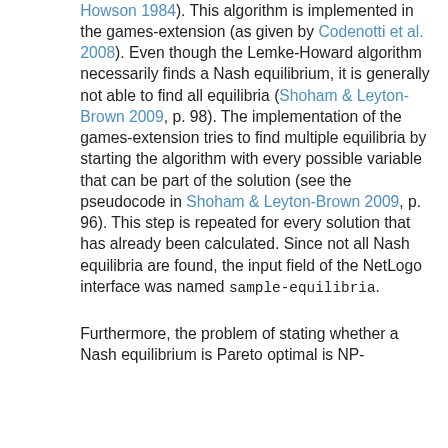Howson 1984). This algorithm is implemented in the games-extension (as given by Codenotti et al. 2008). Even though the Lemke-Howard algorithm necessarily finds a Nash equilibrium, it is generally not able to find all equilibria (Shoham & Leyton-Brown 2009, p. 98). The implementation of the games-extension tries to find multiple equilibria by starting the algorithm with every possible variable that can be part of the solution (see the pseudocode in Shoham & Leyton-Brown 2009, p. 96). This step is repeated for every solution that has already been calculated. Since not all Nash equilibria are found, the input field of the NetLogo interface was named sample-equilibria.
Furthermore, the problem of stating whether a Nash equilibrium is Pareto optimal is NP-hard (Conitzer & Sandholm 2008; cf. Mi...